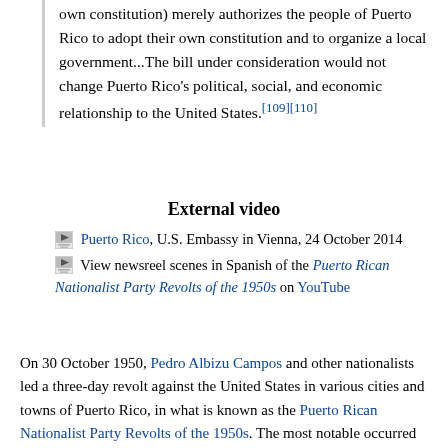own constitution) merely authorizes the people of Puerto Rico to adopt their own constitution and to organize a local government...The bill under consideration would not change Puerto Rico's political, social, and economic relationship to the United States.[109][110]
External video
Puerto Rico, U.S. Embassy in Vienna, 24 October 2014
View newsreel scenes in Spanish of the Puerto Rican Nationalist Party Revolts of the 1950s on YouTube
On 30 October 1950, Pedro Albizu Campos and other nationalists led a three-day revolt against the United States in various cities and towns of Puerto Rico, in what is known as the Puerto Rican Nationalist Party Revolts of the 1950s. The most notable occurred in Jayuya and Utuado. In the Jayuya revolt, known as the "Jayuya Uprising", the Puerto Rican governor declared martial law, and attacked the insurgents in Jayuya with infantry, artillery and bombers under control of the Puerto Rican commander. The